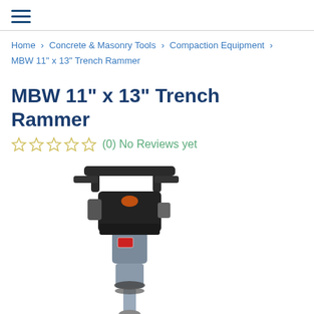☰ (hamburger menu icon)
Home > Concrete & Masonry Tools > Compaction Equipment > MBW 11" x 13" Trench Rammer
MBW 11" x 13" Trench Rammer
(0) No Reviews yet
[Figure (photo): MBW 11" x 13" Trench Rammer product photo showing a compaction rammer machine with black handles at the top and a grey cylindrical body.]